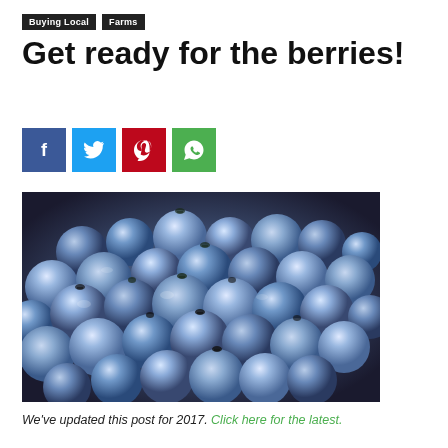Buying Local  Farms
Get ready for the berries!
[Figure (other): Social share buttons: Facebook (blue), Twitter (light blue), Pinterest (red), WhatsApp (green)]
[Figure (photo): Close-up photograph of a large pile of fresh blueberries with a dark background]
We've updated this post for 2017. Click here for the latest.